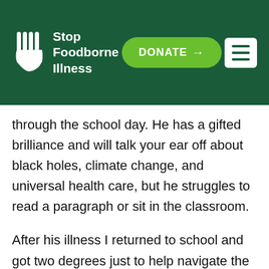Stop Foodborne Illness | DONATE →
through the school day. He has a gifted brilliance and will talk your ear off about black holes, climate change, and universal health care, but he struggles to read a paragraph or sit in the classroom.
After his illness I returned to school and got two degrees just to help navigate the world of educating Noah. Every member of our big family was profoundly changed by these experiences. Noah will struggle with effects of his illness for the rest of his life. It still shocks me that one illness, one meal, can quickly